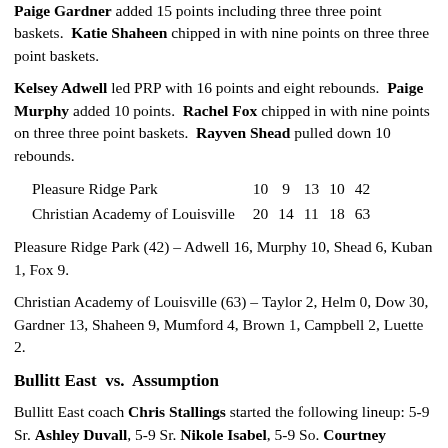Paige Gardner added 15 points including three three point baskets. Katie Shaheen chipped in with nine points on three three point baskets.
Kelsey Adwell led PRP with 16 points and eight rebounds. Paige Murphy added 10 points. Rachel Fox chipped in with nine points on three three point baskets. Rayven Shead pulled down 10 rebounds.
| Pleasure Ridge Park | 10 | 9 | 13 | 10 | 42 |
| Christian Academy of Louisville | 20 | 14 | 11 | 18 | 63 |
Pleasure Ridge Park (42) – Adwell 16, Murphy 10, Shead 6, Kuban 1, Fox 9.
Christian Academy of Louisville (63) – Taylor 2, Helm 0, Dow 30, Gardner 13, Shaheen 9, Mumford 4, Brown 1, Campbell 2, Luette 2.
Bullitt East  vs.  Assumption
Bullitt East coach Chris Stallings started the following lineup: 5-9 Sr. Ashley Duvall, 5-9 Sr. Nikole Isabel, 5-9 So. Courtney Pfister, 5-7 So. Taylor Blain, and 5-4 So. Emily Fryman. Assumption coach Steve Small countered with 5-11 Sr. Morgan